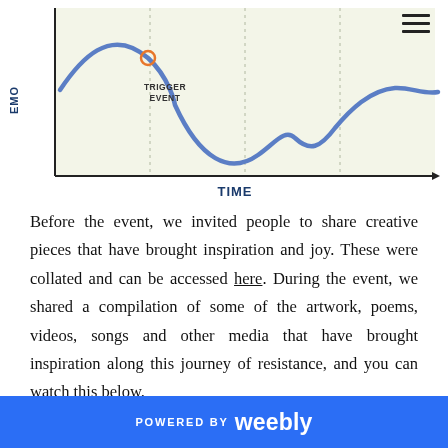[Figure (continuous-plot): A line chart showing EMO (y-axis) over TIME (x-axis). A blue wavy curve rises to a peak then dips, with an orange circle marker labeled 'TRIGGER EVENT' on the downslope. The curve continues with a deep trough and then rises again with undulations. The background has light green/cream shading with vertical dotted lines.]
Before the event, we invited people to share creative pieces that have brought inspiration and joy. These were collated and can be accessed here. During the event, we shared a compilation of some of the artwork, poems, videos, songs and other media that have brought inspiration along this journey of resistance, and you can watch this below.
POWERED BY weebly